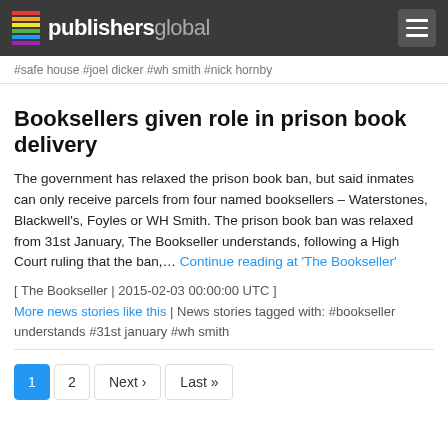publishersglobal
#safe house #joel dicker #wh smith #nick hornby
Booksellers given role in prison book delivery
The government has relaxed the prison book ban, but said inmates can only receive parcels from four named booksellers – Waterstones, Blackwell's, Foyles or WH Smith. The prison book ban was relaxed from 31st January, The Bookseller understands, following a High Court ruling that the ban,... Continue reading at 'The Bookseller'
[ The Bookseller | 2015-02-03 00:00:00 UTC ]
More news stories like this | News stories tagged with: #bookseller understands #31st january #wh smith
1 2 Next › Last »